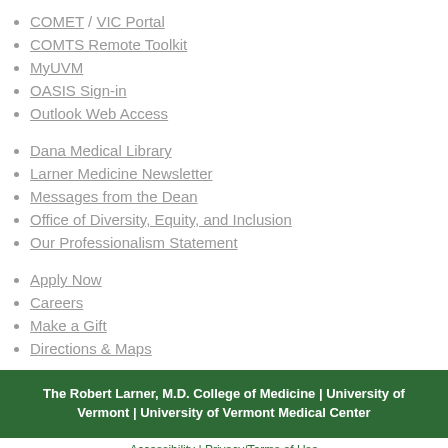COMET / VIC Portal
COMTS Remote Toolkit
MyUVM
OASIS Sign-in
Outlook Web Access
Dana Medical Library
Larner Medicine Newsletter
Messages from the Dean
Office of Diversity, Equity, and Inclusion
Our Professionalism Statement
Apply Now
Careers
Make a Gift
Directions & Maps
The Robert Larner, M.D. College of Medicine | University of Vermont | University of Vermont Medical Center
Accessibility | Privacy/Terms of Use